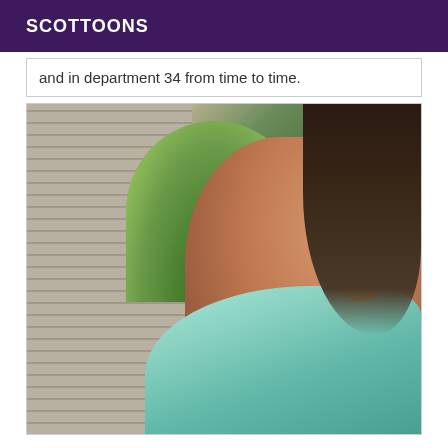SCOTTOONS
and in department 34 from time to time.
[Figure (photo): Woman with dark hair wearing a light blue floral dress and large gold leaf-shaped earrings, posed against a decorative white lattice wall with tropical foliage in the background]